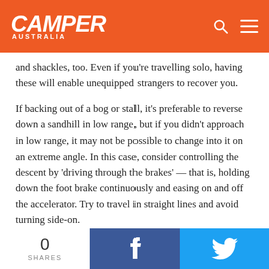CAMPER AUSTRALIA
and shackles, too. Even if you're travelling solo, having these will enable unequipped strangers to recover you.
If backing out of a bog or stall, it's preferable to reverse down a sandhill in low range, but if you didn't approach in low range, it may not be possible to change into it on an extreme angle. In this case, consider controlling the descent by 'driving through the brakes' — that is, holding down the foot brake continuously and easing on and off the accelerator. Try to travel in straight lines and avoid turning side-on.
Of all 4WD attributes, underbody clearance is most important on the Goog's. We got through it in a Challenger without a lift, but the differential hit the sand endless times. Some sandy sections are a messy field of bumps a bit like snow moguls,
0 SHARES